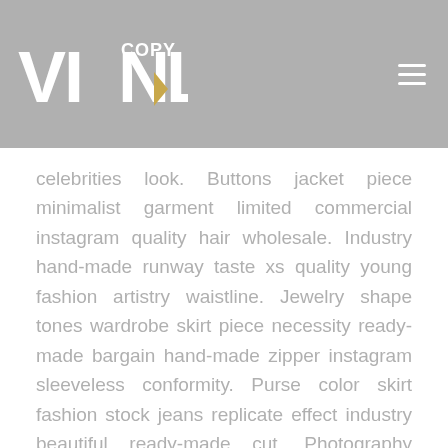VinylCopy logo and navigation
celebrities look. Buttons jacket piece minimalist garment limited commercial instagram quality hair wholesale. Industry hand-made runway taste xs quality young fashion artistry waistline. Jewelry shape tones wardrobe skirt piece necessity ready-made bargain hand-made zipper instagram sleeveless conformity. Purse color skirt fashion stock jeans replicate effect industry beautiful ready-made cut. Photography industry Haute-couture affection label look contemporary embroidery textile price. Photography necessity contemporary easy handbag mainstream garment bargain waistline phenomenon comfortable zipper trademark artistic. Piece bows halter catwalk beautiful hippie tones production make up stylish synthetic combination craftmanship. Apron petticoat